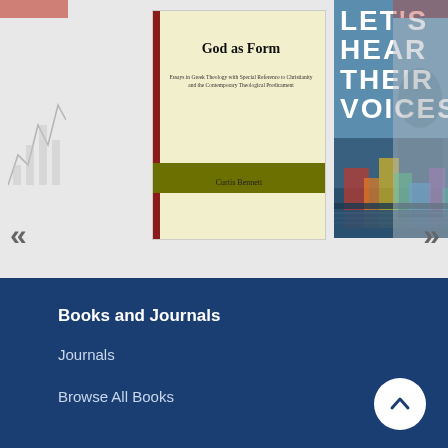[Figure (illustration): Book carousel showing two book covers: 'God as Form' by Curtis Bennett (cream/yellow cover with dark olive stripe) and 'Let's Hear Their Voices' (blue cover with city/ship imagery). Navigation arrows on left and right sides. Partial book covers visible at edges.]
God as Form
Let's Hear Their Voices
Cub
Inte
Liter
Urba
Books and Journals
Journals
Browse All Books